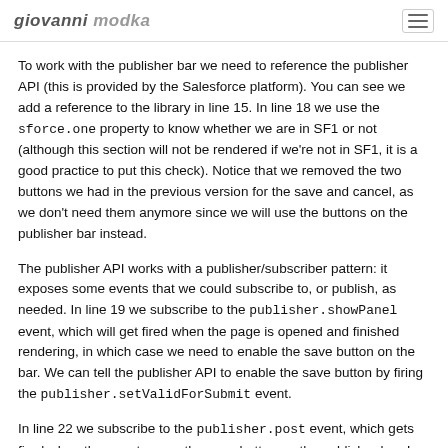giovanni modka
To work with the publisher bar we need to reference the publisher API (this is provided by the Salesforce platform). You can see we add a reference to the library in line 15. In line 18 we use the sforce.one property to know whether we are in SF1 or not (although this section will not be rendered if we're not in SF1, it is a good practice to put this check). Notice that we removed the two buttons we had in the previous version for the save and cancel, as we don't need them anymore since we will use the buttons on the publisher bar instead.
The publisher API works with a publisher/subscriber pattern: it exposes some events that we could subscribe to, or publish, as needed. In line 19 we subscribe to the publisher.showPanel event, which will get fired when the page is opened and finished rendering, in which case we need to enable the save button on the bar. We can tell the publisher API to enable the save button by firing the publisher.setValidForSubmit event.
In line 22 we subscribe to the publisher.post event, which gets fired when the user taps on the save button on the publisher bar. In